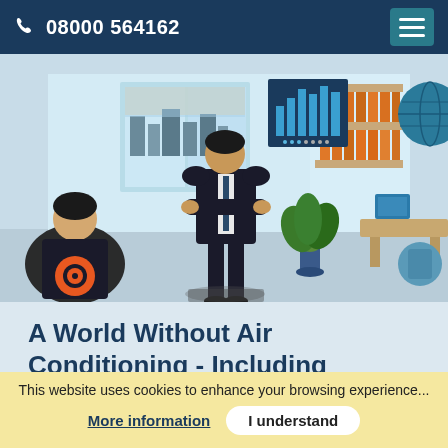08000 564162
[Figure (illustration): Illustration of an office scene with three business people: one seated with back turned (orange circular logo on chair), one standing in a suit with arms crossed, and one woman pointing at a bar chart on a screen/shelf. Office shelves, binders, a plant, and a desk visible in the background.]
A World Without Air Conditioning - Including Infographic!
This website uses cookies to enhance your browsing experience...
More information
I understand